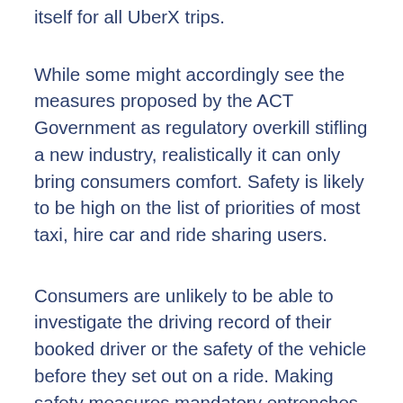itself for all UberX trips.
While some might accordingly see the measures proposed by the ACT Government as regulatory overkill stifling a new industry, realistically it can only bring consumers comfort. Safety is likely to be high on the list of priorities of most taxi, hire car and ride sharing users.
Consumers are unlikely to be able to investigate the driving record of their booked driver or the safety of the vehicle before they set out on a ride. Making safety measures mandatory entrenches the measures already in place by Uber to the benefit of consumers. To the extent Uber already undertakes these types of measures, the new laws should not